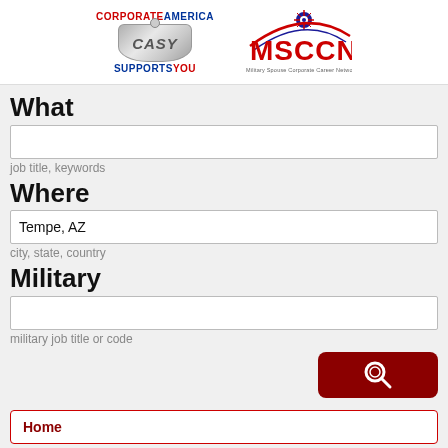[Figure (logo): CorporateAmerica Supports You (CASY) dog tag logo and MSCCN Military Spouse Corporate Career Network logo]
What
job title, keywords
Where
Tempe, AZ
city, state, country
Military
military job title or code
[Figure (illustration): Dark red search/magnifying glass button]
Home
View All Jobs (3,996,453)